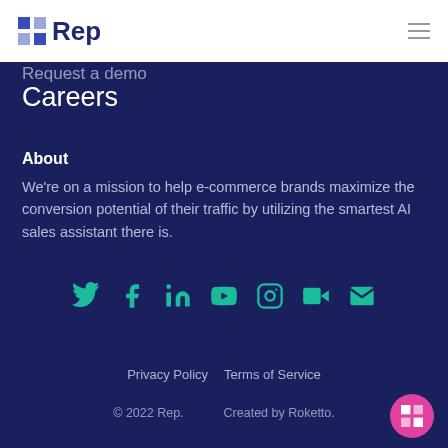[Figure (logo): Rep logo with grid icon and text 'Rep' in dark blue]
Request a demo
Careers
About
We're on a mission to help e-commerce brands maximize the conversion potential of their traffic by utilizing the smartest AI sales assistant there is.
[Figure (infographic): Social media icons: Twitter, Facebook, LinkedIn, YouTube, Instagram, video, email — all teal colored]
Privacy Policy   Terms of Service
© 2022 Rep.   Created by Roketto.